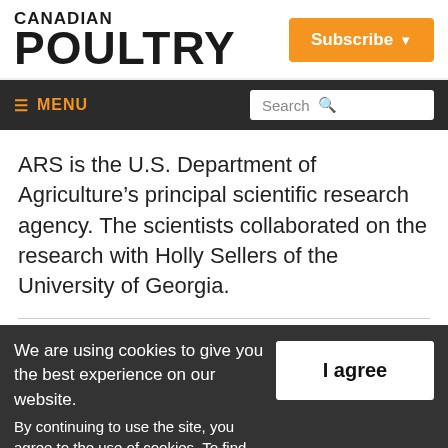CANADIAN POULTRY
Subscribe
MENU
Search
ARS is the U.S. Department of Agriculture’s principal scientific research agency. The scientists collaborated on the research with Holly Sellers of the University of Georgia.
We are using cookies to give you the best experience on our website. By continuing to use the site, you agree to the use of cookies. To find out more, read our privacy policy.
I agree